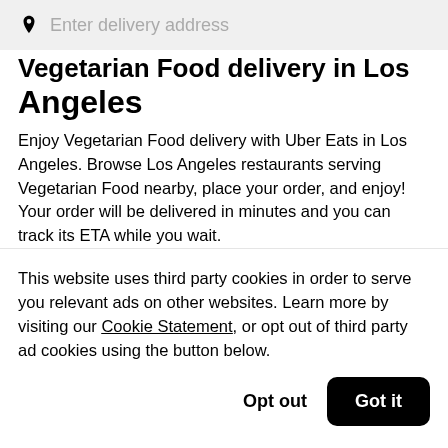Enter delivery address
Vegetarian Food delivery in Los Angeles
Enjoy Vegetarian Food delivery with Uber Eats in Los Angeles. Browse Los Angeles restaurants serving Vegetarian Food nearby, place your order, and enjoy! Your order will be delivered in minutes and you can track its ETA while you wait.
This website uses third party cookies in order to serve you relevant ads on other websites. Learn more by visiting our Cookie Statement, or opt out of third party ad cookies using the button below.